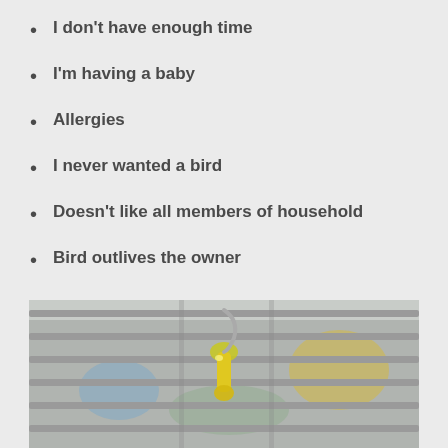I don't have enough time
I'm having a baby
Allergies
I never wanted a bird
Doesn't like all members of household
Bird outlives the owner
[Figure (photo): Close-up photo of a bird cage with metal bars and a yellow plastic perch or clip, with blurred colorful objects in the background]